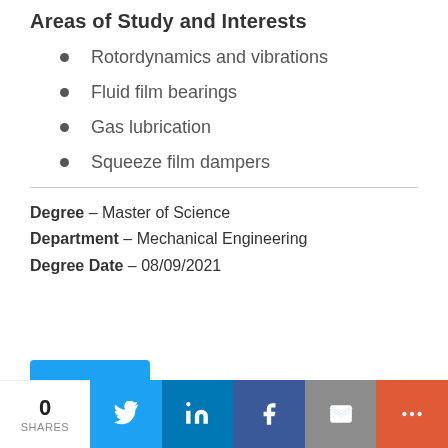Areas of Study and Interests
Rotordynamics and vibrations
Fluid film bearings
Gas lubrication
Squeeze film dampers
Degree – Master of Science
Department – Mechanical Engineering
Degree Date – 08/09/2021